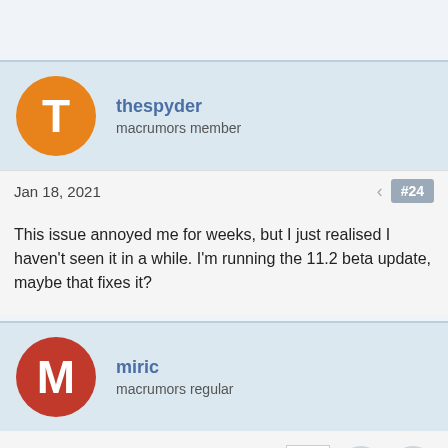[Figure (other): Forum post by user 'thespyder', macrumors member, with orange avatar showing letter T]
Jan 18, 2021
#24
This issue annoyed me for weeks, but I just realised I haven't seen it in a while. I'm running the 11.2 beta update, maybe that fixes it?
[Figure (other): Forum post by user 'miric', macrumors regular, with red avatar showing letter M]
Jan 18, 2021